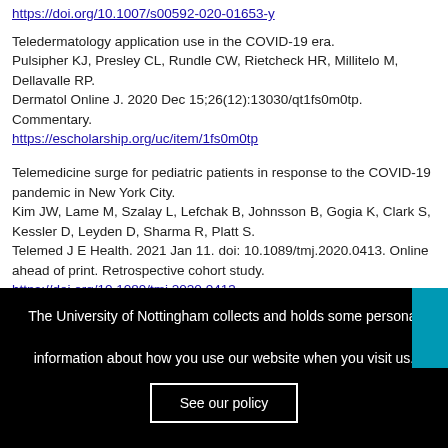https://doi.org/10.1007/s00592-020-01653-y
Teledermatology application use in the COVID-19 era.
Pulsipher KJ, Presley CL, Rundle CW, Rietcheck HR, Millitelo M, Dellavalle RP.
Dermatol Online J. 2020 Dec 15;26(12):13030/qt1fs0m0tp. Commentary.
https://escholarship.org/uc/item/1fs0m0tp
Telemedicine surge for pediatric patients in response to the COVID-19 pandemic in New York City.
Kim JW, Lame M, Szalay L, Lefchak B, Johnsson B, Gogia K, Clark S, Kessler D, Leyden D, Sharma R, Platt S.
Telemed J E Health. 2021 Jan 11. doi: 10.1089/tmj.2020.0413. Online ahead of print. Retrospective cohort study.
https://doi.org/10.1089/tmj.2020.0413
Teledermoscopy as a community based diagnostic test in the era of
The University of Nottingham collects and holds some personal information about how you use our website when you visit us.
See our policy